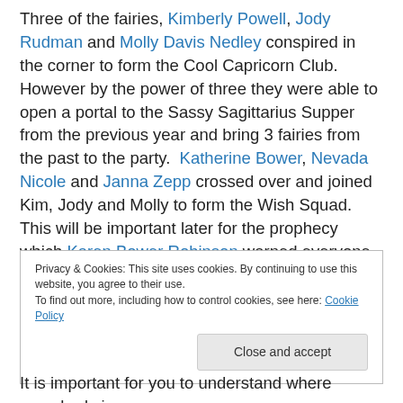Three of the fairies, Kimberly Powell, Jody Rudman and Molly Davis Nedley conspired in the corner to form the Cool Capricorn Club.  However by the power of three they were able to open a portal to the Sassy Sagittarius Supper from the previous year and bring 3 fairies from the past to the party.  Katherine Bower, Nevada Nicole and Janna Zepp crossed over and joined Kim, Jody and Molly to form the Wish Squad.  This will be important later for the prophecy which Karen Bower Robinson warned everyone of.  There will be a test.
Privacy & Cookies: This site uses cookies. By continuing to use this website, you agree to their use. To find out more, including how to control cookies, see here: Cookie Policy
It is important for you to understand where everybody is,